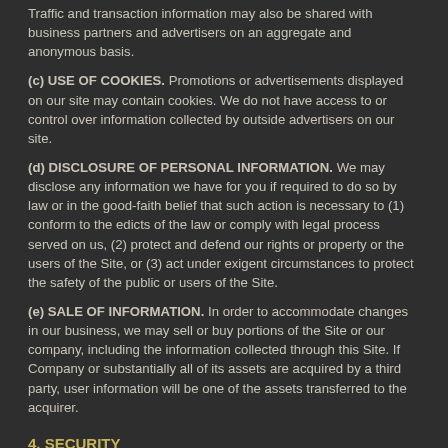Traffic and transaction information may also be shared with business partners and advertisers on an aggregate and anonymous basis.
(c) USE OF COOKIES. Promotions or advertisements displayed on our site may contain cookies. We do not have access to or control over information collected by outside advertisers on our site.
(d) DISCLOSURE OF PERSONAL INFORMATION. We may disclose any information we have for you if required to do so by law or in the good-faith belief that such action is necessary to (1) conform to the edicts of the law or comply with legal process served on us, (2) protect and defend our rights or property or the users of the Site, or (3) act under exigent circumstances to protect the safety of the public or users of the Site.
(e) SALE OF INFORMATION. In order to accommodate changes in our business, we may sell or buy portions of the Site or our company, including the information collected through this Site. If Company or substantially all of its assets are acquired by a third party, user information will be one of the assets transferred to the acquirer.
4. SECURITY
The Site has security measures in place to prevent the loss, misuse, and alteration of the information that we obtain from you, but we make no assurances about our ability to prevent any such loss to you or to any third party arising out of any such loss, misuse, or alteration